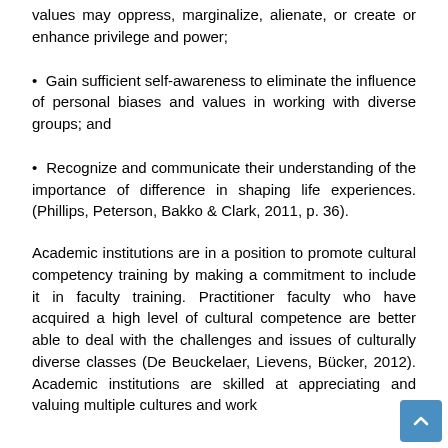values may oppress, marginalize, alienate, or create or enhance privilege and power;
Gain sufficient self-awareness to eliminate the influence of personal biases and values in working with diverse groups; and
Recognize and communicate their understanding of the importance of difference in shaping life experiences. (Phillips, Peterson, Bakko & Clark, 2011, p. 36).
Academic institutions are in a position to promote cultural competency training by making a commitment to include it in faculty training. Practitioner faculty who have acquired a high level of cultural competence are better able to deal with the challenges and issues of culturally diverse classes (De Beuckelaer, Lievens, Bücker, 2012). Academic institutions are skilled at appreciating and valuing multiple cultures and work